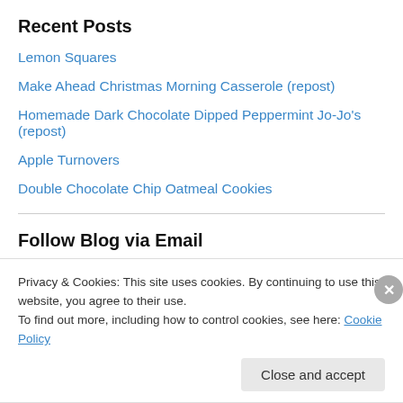Recent Posts
Lemon Squares
Make Ahead Christmas Morning Casserole (repost)
Homemade Dark Chocolate Dipped Peppermint Jo-Jo's (repost)
Apple Turnovers
Double Chocolate Chip Oatmeal Cookies
Follow Blog via Email
Enter your email address to follow this blog and receive notifications of new posts by email.
Privacy & Cookies: This site uses cookies. By continuing to use this website, you agree to their use.
To find out more, including how to control cookies, see here: Cookie Policy
Close and accept